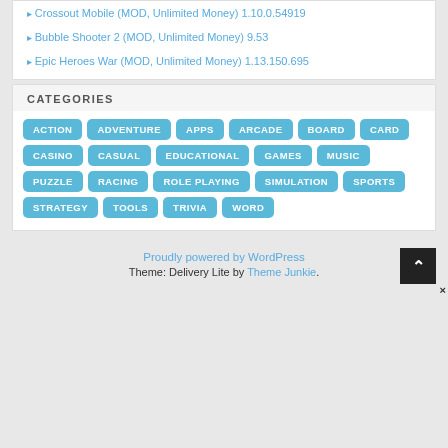Crossout Mobile (MOD, Unlimited Money) 1.10.0.54919
Bubble Shooter 2 (MOD, Unlimited Money) 9.53
Epic Heroes War (MOD, Unlimited Money) 1.13.150.695
CATEGORIES
ACTION ADVENTURE APPS ARCADE BOARD CARD CASINO CASUAL EDUCATIONAL GAMES MUSIC PUZZLE RACING ROLE PLAYING SIMULATION SPORTS STRATEGY TOOLS TRIVIA WORD
Proudly powered by WordPress. Theme: Delivery Lite by Theme Junkie.